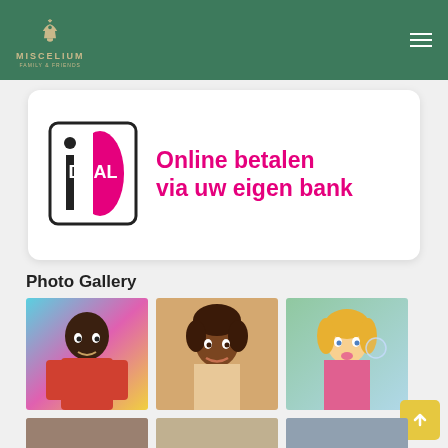[Figure (logo): Miscelium logo with mushroom icon in gold/brown on green background, text MISCELIUM below]
[Figure (screenshot): iDEAL payment banner: iDEAL logo on left with text 'Online betalen via uw eigen bank' in pink/magenta on white rounded rectangle]
Photo Gallery
[Figure (photo): Portrait of a young Black man in front of colorful graffiti wall]
[Figure (photo): Portrait of a young African girl smiling outdoors]
[Figure (photo): Young blonde girl blowing bubbles outdoors]